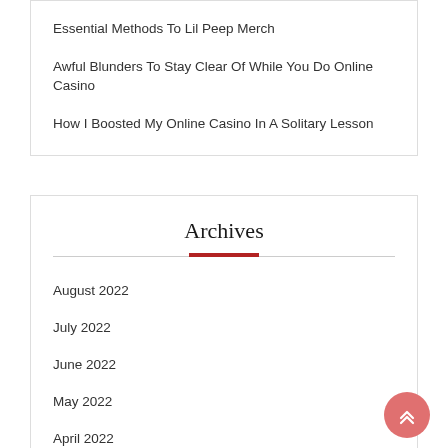Essential Methods To Lil Peep Merch
Awful Blunders To Stay Clear Of While You Do Online Casino
How I Boosted My Online Casino In A Solitary Lesson
Archives
August 2022
July 2022
June 2022
May 2022
April 2022